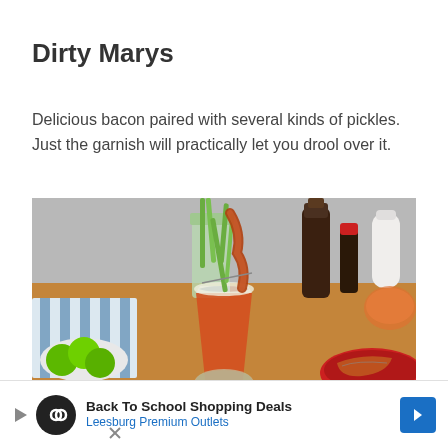Dirty Marys
Delicious bacon paired with several kinds of pickles. Just the garnish will practically let you drool over it.
[Figure (photo): A Bloody Mary cocktail garnished with celery, bacon, and lime, sitting on a wooden table with limes, sauces, and food in the background.]
Ingredi
Back To School Shopping Deals Leesburg Premium Outlets